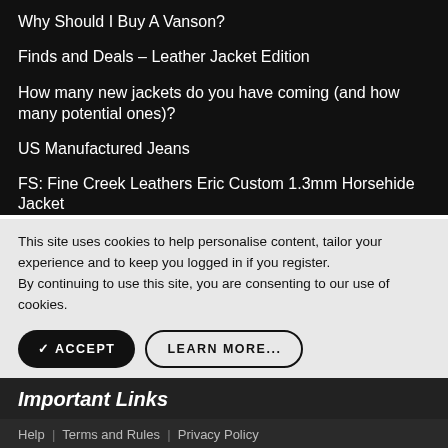Why Should I Buy A Vanson?
Finds and Deals - Leather Jacket Edition
How many new jackets do you have coming (and how many potential ones)?
US Manufactured Jeans
FS: Fine Creek Leathers Eric Custom 1.3mm Horsehide Jacket
This site uses cookies to help personalise content, tailor your experience and to keep you logged in if you register.
By continuing to use this site, you are consenting to our use of cookies.
Important Links
Help | Terms and Rules | Privacy Policy
tally Fast credit card payoff  Download Now →